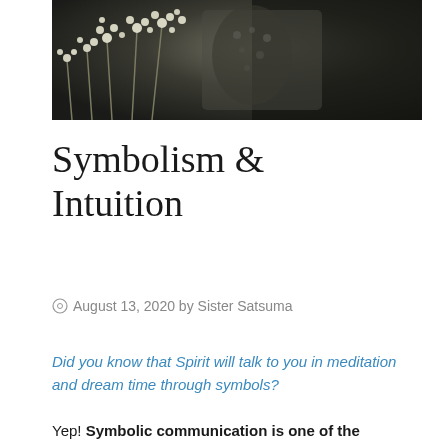[Figure (photo): Black and white photograph showing dried flower stems with small round berries or buds alongside decorative fabric or clothing with embossed patterns, dark moody aesthetic]
Symbolism & Intuition
August 13, 2020 by Sister Satsuma
Did you know that Spirit will talk to you in meditation and dream time through symbols?
Yep! Symbolic communication is one of the